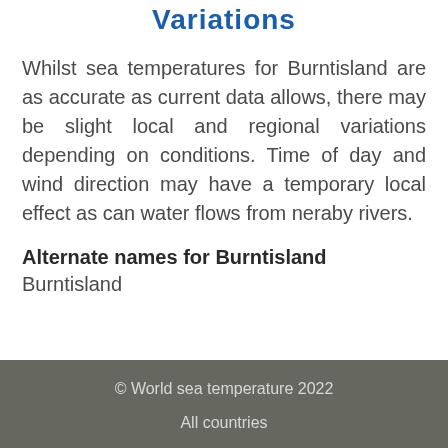Variations
Whilst sea temperatures for Burntisland are as accurate as current data allows, there may be slight local and regional variations depending on conditions. Time of day and wind direction may have a temporary local effect as can water flows from neraby rivers.
Alternate names for Burntisland
Burntisland
© World sea temperature 2022

All countries